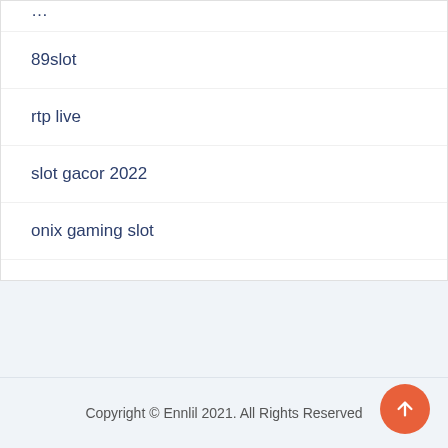89slot
rtp live
slot gacor 2022
onix gaming slot
Copyright © Ennlil 2021. All Rights Reserved